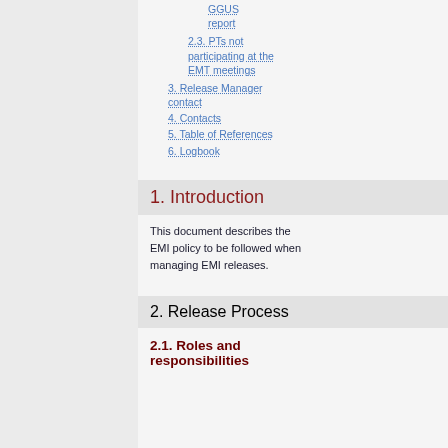GGUS report
2.3. PTs not participating at the EMT meetings
3. Release Manager contact
4. Contacts
5. Table of References
6. Logbook
1. Introduction
This document describes the EMI policy to be followed when managing EMI releases.
2. Release Process
2.1. Roles and responsibilities